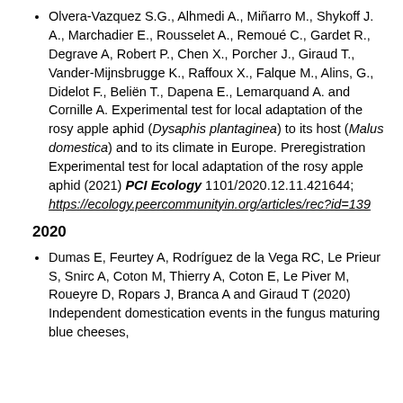Olvera-Vazquez S.G., Alhmedi A., Miñarro M., Shykoff J. A., Marchadier E., Rousselet A., Remoué C., Gardet R., Degrave A, Robert P., Chen X., Porcher J., Giraud T., Vander-Mijnsbrugge K., Raffoux X., Falque M., Alins, G., Didelot F., Beliën T., Dapena E., Lemarquand A. and Cornille A. Experimental test for local adaptation of the rosy apple aphid (Dysaphis plantaginea) to its host (Malus domestica) and to its climate in Europe. Preregistration Experimental test for local adaptation of the rosy apple aphid (2021) PCI Ecology 1101/2020.12.11.421644; https://ecology.peercommunityin.org/articles/rec?id=139
2020
Dumas E, Feurtey A, Rodríguez de la Vega RC, Le Prieur S, Snirc A, Coton M, Thierry A, Coton E, Le Piver M, Roueyre D, Ropars J, Branca A and Giraud T (2020) Independent domestication events in the fungus maturing blue cheeses,